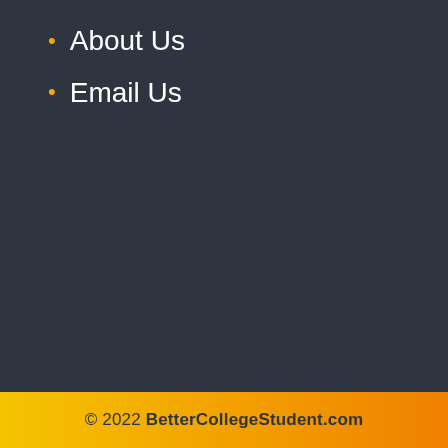About Us
Email Us
© 2022 BetterCollegeStudent.com